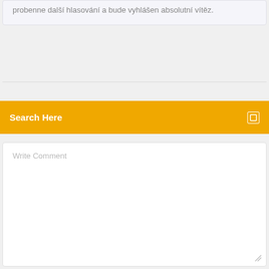probenne další hlasování a bude vyhlášen absolutní vítěz.
Search Here
Write Comment